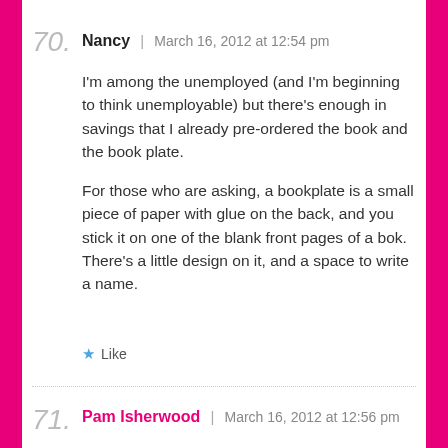70. Nancy | March 16, 2012 at 12:54 pm
I'm among the unemployed (and I'm beginning to think unemployable) but there's enough in savings that I already pre-ordered the book and the book plate.

For those who are asking, a bookplate is a small piece of paper with glue on the back, and you stick it on one of the blank front pages of a bok. There's a little design on it, and a space to write a name.
Like
71. Pam Isherwood | March 16, 2012 at 12:56 pm
You bet the bl'fe edition is (s) and since we don't